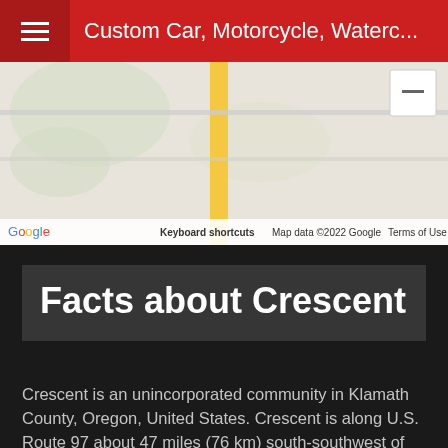Custom Car, Motorcycle, Waterc...
[Figure (map): Google Maps showing Crescent area with a yellow road (US Route 97) running vertically, Google logo, keyboard shortcuts, map data attribution, and terms of use at the bottom. A zoom-out minus button is visible in the top right corner.]
Facts about Crescent
Crescent is an unincorporated community in Klamath County, Oregon, United States. Crescent is along U.S. Route 97 about 47 miles (76 km) south-southwest of Bend. Crescent has a post office with ZIP code 97733.
Climate
This region experiences warm (but not hot) and dry summers, with no average monthly temperatures